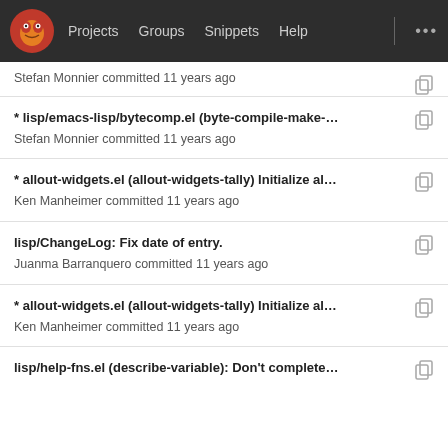Projects  Groups  Snippets  Help
Stefan Monnier committed 11 years ago
* lisp/emacs-lisp/bytecomp.el (byte-compile-make-... Stefan Monnier committed 11 years ago
* allout-widgets.el (allout-widgets-tally) Initialize al... Ken Manheimer committed 11 years ago
lisp/ChangeLog: Fix date of entry. Juanma Barranquero committed 11 years ago
* allout-widgets.el (allout-widgets-tally) Initialize al... Ken Manheimer committed 11 years ago
lisp/help-fns.el (describe-variable): Don't complete...